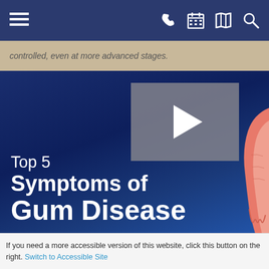[Figure (screenshot): Dark blue navigation bar with hamburger menu icon on left and phone, calendar, map, and search icons on right in white]
controlled, even at more advanced stages.
[Figure (screenshot): Video thumbnail on dark blue background showing 'Top 5 Symptoms of Gum Disease' with play button overlay and gum anatomy illustration on right side]
If you need a more accessible version of this website, click this button on the right. Switch to Accessible Site